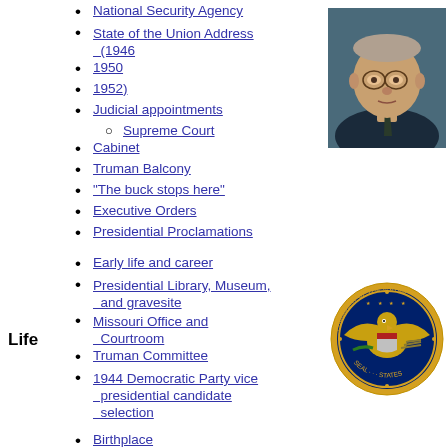National Security Agency
State of the Union Address (1946
1950
1952)
Judicial appointments
Supreme Court
Cabinet
Truman Balcony
"The buck stops here"
Executive Orders
Presidential Proclamations
[Figure (photo): Portrait photograph of Harry S. Truman]
Early life and career
Presidential Library, Museum, and gravesite
Missouri Office and Courtroom
Truman Committee
1944 Democratic Party vice presidential candidate selection
[Figure (logo): Seal of the President of the United States]
Life
Birthplace
Harry S. Truman Farm Home